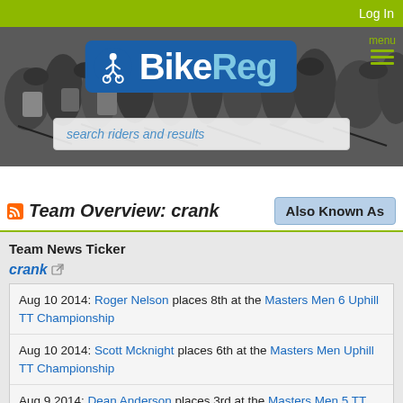Log In
[Figure (screenshot): BikeReg website header with cyclist logo on blue background, grayscale cycling crowd background image, search bar reading 'search riders and results', menu icon top right]
Team Overview: crank
Also Known As
Team News Ticker
crank
Aug 10 2014: Roger Nelson places 8th at the Masters Men 6 Uphill TT Championship
Aug 10 2014: Scott Mcknight places 6th at the Masters Men Uphill TT Championship
Aug 9 2014: Dean Anderson places 3rd at the Masters Men 5 TT